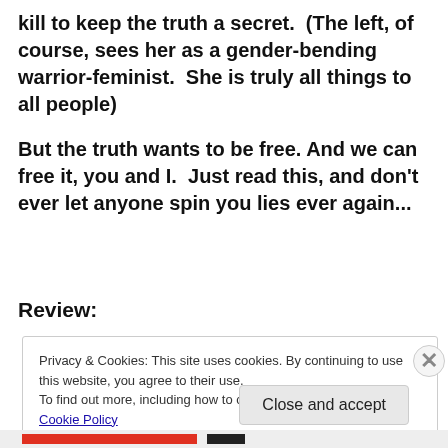kill to keep the truth a secret.  (The left, of course, sees her as a gender-bending warrior-feminist.  She is truly all things to all people)
But the truth wants to be free. And we can free it, you and I.  Just read this, and don't ever let anyone spin you lies ever again...
Review:
Privacy & Cookies: This site uses cookies. By continuing to use this website, you agree to their use.
To find out more, including how to control cookies, see here: Cookie Policy